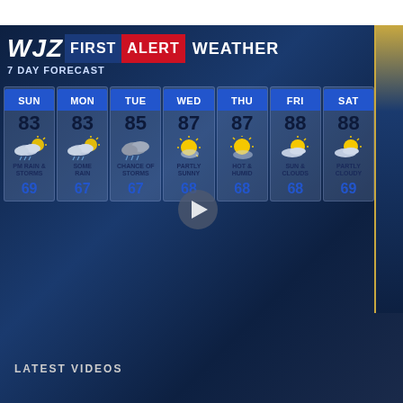WJZ FIRST ALERT WEATHER - 7 DAY FORECAST
[Figure (infographic): WJZ First Alert Weather 7-day forecast showing temperatures and conditions for SUN through SAT. High temperatures: 83, 83, 85, 87, 87, 88, 88. Conditions: PM Rain & Storms, Some Rain, Chance of Storms, Partly Sunny, Hot & Humid, Sun & Clouds, Partly Cloudy. Low temperatures: 69, 67, 67, 68, 68, 68, 69.]
LATEST VIDEOS